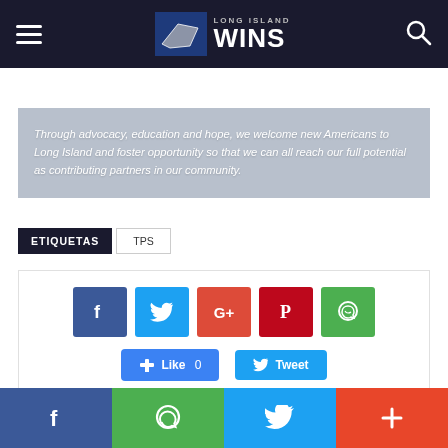Long Island WINS
Through advocacy, education and hope, we welcome new Americans to Long Island and foster opportunity so that we can all reach our full potential as contributing partners in our community.
ETIQUETAS   TPS
[Figure (screenshot): Social media share buttons: Facebook, Twitter, Google+, Pinterest, WhatsApp icons, plus Like 0 and Tweet buttons]
[Figure (screenshot): Bottom bar with Facebook, WhatsApp, Twitter, and plus share icons]